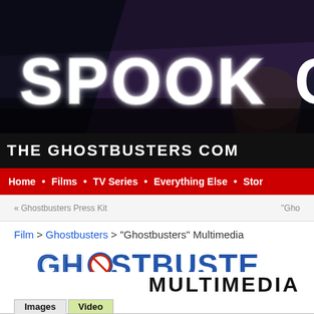[Figure (screenshot): Website banner header showing 'SPOOK C' text in white on dark diagonal background with supernatural/ghost imagery]
THE GHOSTBUSTERS COM
Home • Films • TV Series • Everything Else • Stor
« Ghostbusters Press Kit   "Gho
Film > Ghostbusters > "Ghostbusters" Multimedia
[Figure (logo): Ghostbusters logo with ghost icon and stylized text]
MULTIMEDIA
Images   Video